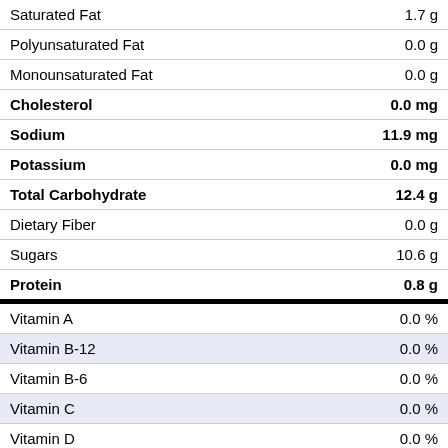| Nutrient | Amount |
| --- | --- |
| Saturated Fat | 1.7 g |
| Polyunsaturated Fat | 0.0 g |
| Monounsaturated Fat | 0.0 g |
| Cholesterol | 0.0 mg |
| Sodium | 11.9 mg |
| Potassium | 0.0 mg |
| Total Carbohydrate | 12.4 g |
| Dietary Fiber | 0.0 g |
| Sugars | 10.6 g |
| Protein | 0.8 g |
| Vitamin A | 0.0 % |
| Vitamin B-12 | 0.0 % |
| Vitamin B-6 | 0.0 % |
| Vitamin C | 0.0 % |
| Vitamin D | 0.0 % |
| Vitamin E | 0.0 % |